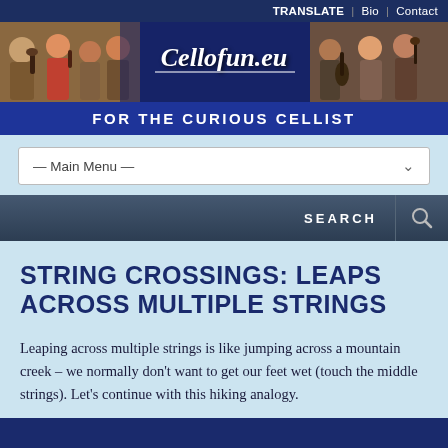TRANSLATE | Bio | Contact
[Figure (photo): Banner image of Cellofun.eu website showing musicians playing string instruments with site title overlay]
FOR THE CURIOUS CELLIST
— Main Menu —
SEARCH
STRING CROSSINGS: LEAPS ACROSS MULTIPLE STRINGS
Leaping across multiple strings is like jumping across a mountain creek – we normally don't want to get our feet wet (touch the middle strings). Let's continue with this hiking analogy.